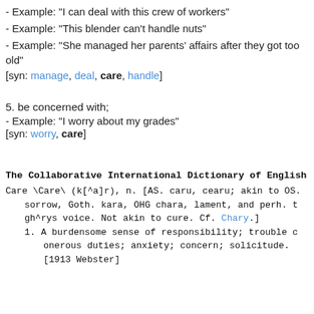- Example: "I can deal with this crew of workers"
- Example: "This blender can't handle nuts"
- Example: "She managed her parents' affairs after they got too old"
[syn: manage, deal, care, handle]
5. be concerned with;
- Example: "I worry about my grades"
[syn: worry, care]
The Collaborative International Dictionary of English
Care \Care\ (k[^a]r), n. [AS. caru, cearu; akin to OS. kara sorrow, Goth. kara, OHG chara, lament, and perh. t gh^rys voice. Not akin to cure. Cf. Chary.]
   1. A burdensome sense of responsibility; trouble c onerous duties; anxiety; concern; solicitude.
      [1913 Webster]